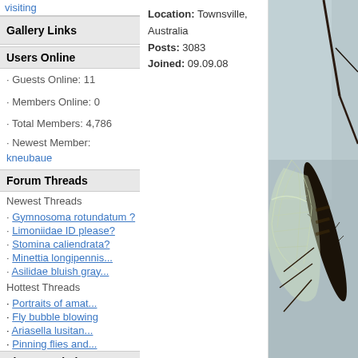visiting
Gallery Links
Users Online
· Guests Online: 11
· Members Online: 0
· Total Members: 4,786
· Newest Member: kneubaue
Forum Threads
Newest Threads
· Gymnosoma rotundatum ?
· Limoniidae ID please?
· Stomina caliendrata?
· Minettia longipennis...
· Asilidae bluish gray...
Hottest Threads
· Portraits of amat...  [338]
· Fly bubble blowing  [172]
· Ariasella lusitan...  [105]
· Pinning flies and...  [94]
Theme Switcher
Switch to: SimpleAsThat
Last Seen Users
· Nosferatumyia  00:07:33
· Reimund Ley  00:45:19
· Gunther  01:18:32
Location: Townsville, Australia
Posts: 3083
Joined: 09.09.08
[Figure (photo): Close-up macro photograph of an insect (fly/diptera) showing detailed wing venation and body hair/bristles against a grey-blue background]